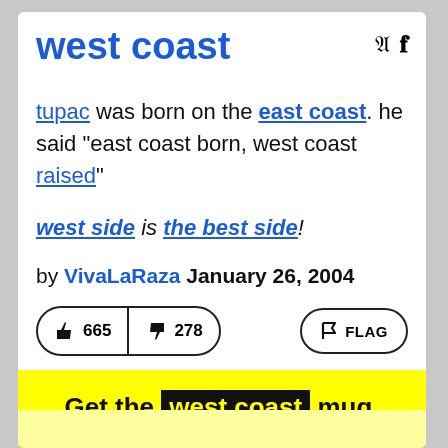west coast
tupac was born on the east coast. he said "east coast born, west coast raised"
west side is the best side!
by VivaLaRaza January 26, 2004
👍 665  👎 278  🚩 FLAG
Get the west coast mug.